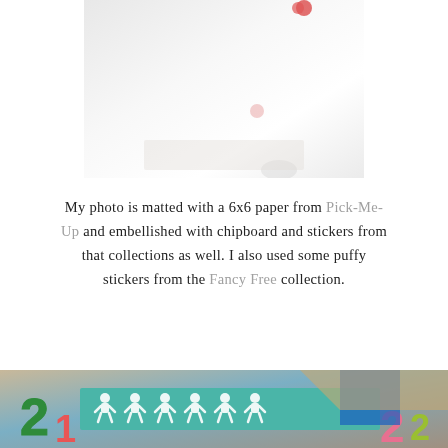[Figure (photo): Top portion of a photo, showing a white background with a small red dot/circle element, partially cropped craft/scrapbook photo]
My photo is matted with a 6x6 paper from Pick-Me-Up and embellished with chipboard and stickers from that collections as well. I also used some puffy stickers from the Fancy Free collection.
[Figure (photo): Close-up photo of a scrapbooking layout featuring a teal strip with white paper doll chain cutouts, colorful number chipboard pieces (green, red, pink, yellow-green), and a background with blue and tan/wood colored elements]